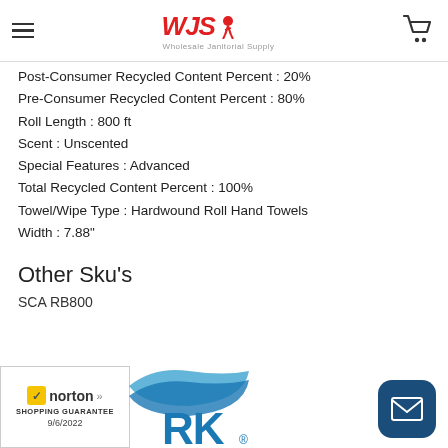WJS Wholesale Janitorial Supply
Post-Consumer Recycled Content Percent : 20%
Pre-Consumer Recycled Content Percent : 80%
Roll Length : 800 ft
Scent : Unscented
Special Features : Advanced
Total Recycled Content Percent : 100%
Towel/Wipe Type : Hardwound Roll Hand Towels
Width : 7.88"
Other Sku's
SCA RB800
[Figure (logo): Norton Shopping Guarantee badge with checkmark and date 9/6/2022]
[Figure (logo): RK brand logo in blue]